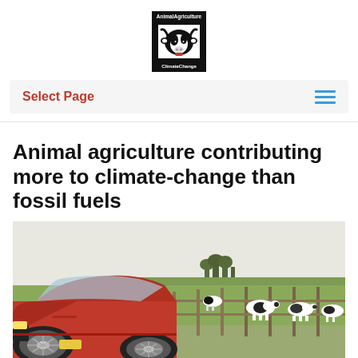[Figure (logo): Animal Agriculture & Climate Change logo — black box with white cow face graphic, white text 'AnimalAgriculture' at top and 'ClimateChange' at bottom]
Select Page
Animal agriculture contributing more to climate-change than fossil fuels
[Figure (photo): Photo of a red BMW car in the foreground with dairy cows standing by a fence in a green farm field in the background]